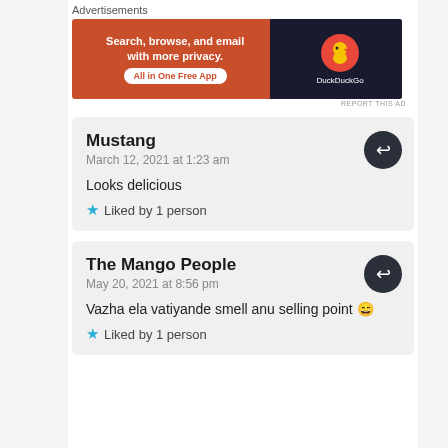Advertisements
[Figure (screenshot): DuckDuckGo advertisement banner: 'Search, browse, and email with more privacy. All in One Free App' with DuckDuckGo logo on dark background]
REPORT THIS AD
Mustang
March 12, 2021 at 1:23 am

Looks delicious
★ Liked by 1 person
The Mango People
May 20, 2021 at 8:56 pm

Vazha ela vatiyande smell anu selling point 😄
★ Liked by 1 person